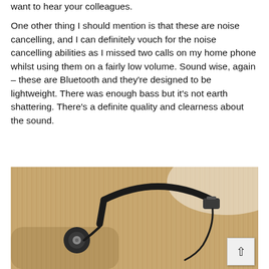want to hear your colleagues.
One other thing I should mention is that these are noise cancelling, and I can definitely vouch for the noise cancelling abilities as I missed two calls on my home phone whilst using them on a fairly low volume. Sound wise, again – these are Bluetooth and they're designed to be lightweight. There was enough bass but it's not earth shattering. There's a definite quality and clearness about the sound.
[Figure (photo): Photo of Bluetooth earphones/neckband headset lying on a wooden surface. The black neckband cable and earpiece are visible on a light brown wood-grain table.]